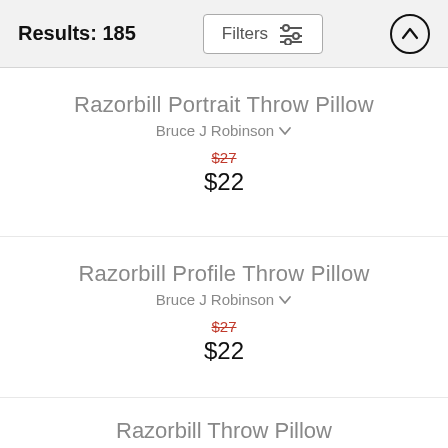Results: 185  Filters
Razorbill Portrait Throw Pillow
Bruce J Robinson
$27  $22
Razorbill Profile Throw Pillow
Bruce J Robinson
$27  $22
Razorbill Throw Pillow